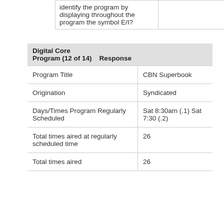|  |  |
| --- | --- |
| identify the program by displaying throughout the program the symbol E/I? |  |
| Digital Core Program (12 of 14) | Response |
| --- | --- |
| Program Title | CBN Superbook |
| Origination | Syndicated |
| Days/Times Program Regularly Scheduled | Sat 8:30am (.1) Sat 7:30 (.2) |
| Total times aired at regularly scheduled time | 26 |
| Total times aired | 26 |